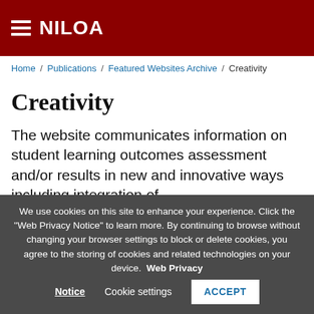NILOA
Home / Publications / Featured Websites Archive / Creativity
Creativity
The website communicates information on student learning outcomes assessment and/or results in new and innovative ways including integration of
We use cookies on this site to enhance your experience. Click the "Web Privacy Notice" to learn more. By continuing to browse without changing your browser settings to block or delete cookies, you agree to the storing of cookies and related technologies on your device. Web Privacy Notice  Cookie settings  ACCEPT